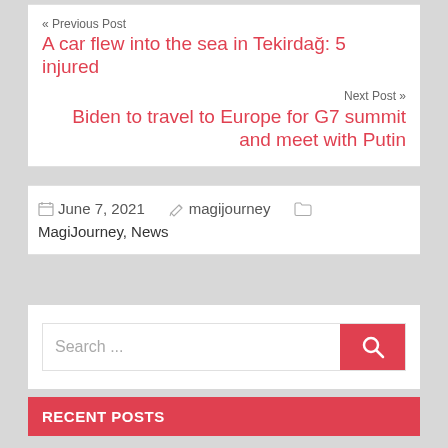« Previous Post
A car flew into the sea in Tekirdağ: 5 injured
Next Post »
Biden to travel to Europe for G7 summit and meet with Putin
June 7, 2021   magijourney   MagiJourney, News
Search ...
RECENT POSTS